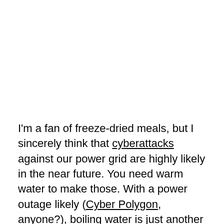I'm a fan of freeze-dried meals, but I sincerely think that cyberattacks against our power grid are highly likely in the near future. You need warm water to make those. With a power outage likely (Cyber Polygon, anyone?), boiling water is just another step between you and eating a meal. If you are forced to shelter in place, inside, without power, this makes for